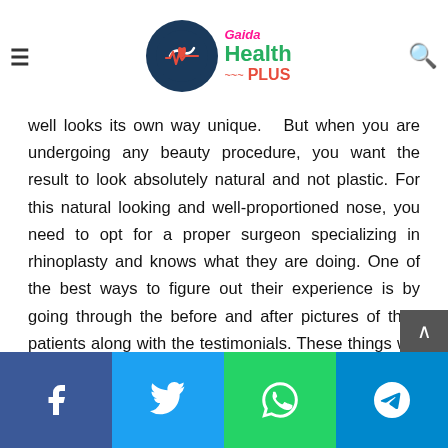Gaida Health Plus — navigation header with logo, hamburger menu, and search icon
well looks its own way unique. But when you are undergoing any beauty procedure, you want the result to look absolutely natural and not plastic. For this natural looking and well-proportioned nose, you need to opt for a proper surgeon specializing in rhinoplasty and knows what they are doing. One of the best ways to figure out their experience is by going through the before and after pictures of their patients along with the testimonials. These things will give you an idea about the skills of the surgeon.
Myth: Rhinoplasty is only for women
There is a lot of misconception regarding plastic surgeons in general that only women undergo them. But this is not true. Nowadays, more and more men are undergoing various plastic surgeries. When men undergo the nose job, it is usually
Facebook | Twitter | WhatsApp | Telegram